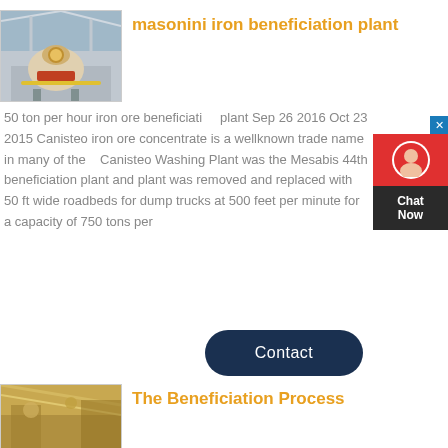[Figure (photo): Industrial mining/crushing machine at a beneficiation plant facility]
masonini iron beneficiation plant
50 ton per hour iron ore beneficiation plant Sep 26 2016 Oct 23 2015 Canisteo iron ore concentrate is a wellknown trade name in many of the Canisteo Washing Plant was the Mesabis 44th beneficiation plant and plant was removed and replaced with 50 ft wide roadbeds for dump trucks at 500 feet per minute for a capacity of 750 tons per
[Figure (other): Chat Now customer support widget]
[Figure (other): Contact button]
[Figure (photo): Mining/beneficiation material close-up photo]
The Beneficiation Process